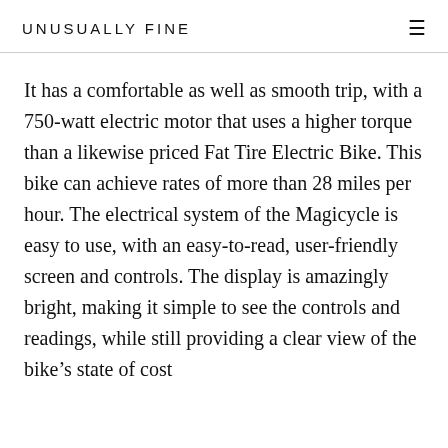UNUSUALLY FINE
It has a comfortable as well as smooth trip, with a 750-watt electric motor that uses a higher torque than a likewise priced Fat Tire Electric Bike. This bike can achieve rates of more than 28 miles per hour. The electrical system of the Magicycle is easy to use, with an easy-to-read, user-friendly screen and controls. The display is amazingly bright, making it simple to see the controls and readings, while still providing a clear view of the bike’s state of cost